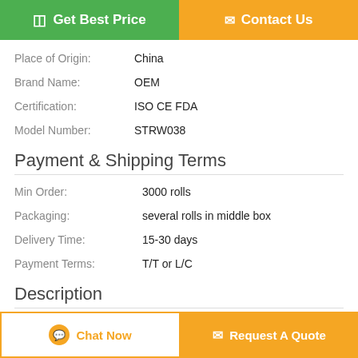[Figure (other): Two call-to-action buttons: green 'Get Best Price' and orange 'Contact Us']
Place of Origin: China
Brand Name: OEM
Certification: ISO CE FDA
Model Number: STRW038
Payment & Shipping Terms
Min Order: 3000 rolls
Packaging: several rolls in middle box
Delivery Time: 15-30 days
Payment Terms: T/T or L/C
Description
Sports tape GYM tape PRO tape Athletic tape
[Figure (other): Two bottom buttons: white 'Chat Now' and orange 'Request A Quote']